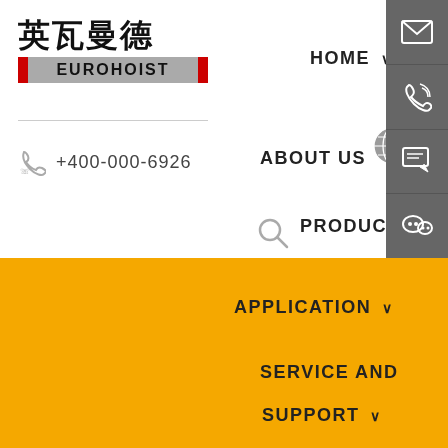[Figure (logo): Eurohoist logo with Chinese characters 英瓦曼德 above and EUROHOIST text with red and grey bar design]
+400-000-6926
HOME ∨
ABOUT US
LANGUAGE
PRODUCT ∨
[Figure (infographic): Grey side panel with 4 icons: email/envelope, phone, message/edit, WeChat]
APPLICATION ∨
SERVICE AND
SUPPORT ∨